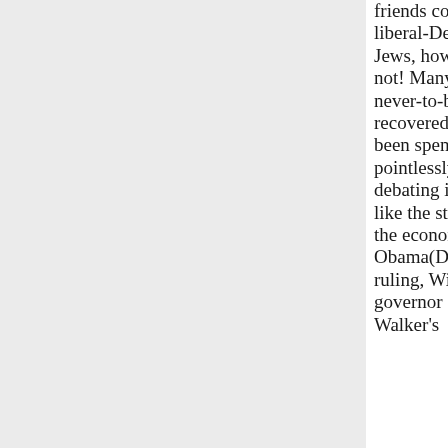friends consist of liberal-Democrat Jews, how could it not! Many a never-to-be-recovered m have been spent pointlessly debating issues like the state of the economy, the Obama(Does ruling, Wisconsin governor Scott Walker's